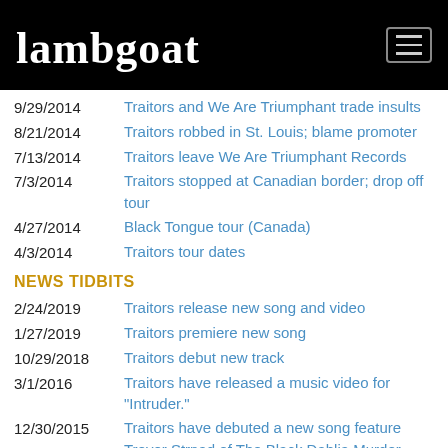lambgoat
9/29/2014  Traitors and We Are Triumphant trade insults
8/21/2014  Traitors robbed in St. Louis; blame promoter
7/13/2014  Traitors leave We Are Triumphant Records
7/3/2014  Traitors stopped at Canadian border; drop off tour
4/27/2014  Black Tongue tour (Canada)
4/3/2014  Traitors tour dates
NEWS TIDBITS
2/24/2019  Traitors release new song and video
1/27/2019  Traitors premiere new song
10/29/2018  Traitors debut new track
3/1/2016  Traitors have released a music video for "Intruder."
12/30/2015  Traitors have debuted a new song feature Trevor Strnad of The Black Dahlia Murder.
11/25/2015  A new Traitors song is now online.
6/3/2015  Traitors have unveiled a downtuned cover of the